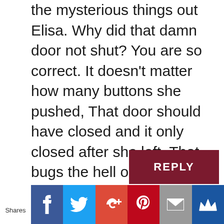the mysterious things out Elisa. Why did that damn door not shut? You are so correct. It doesn't matter how many buttons she pushed, That door should have closed and it only closed after she left. That bugs the hell out of me.
REPLY
Shares